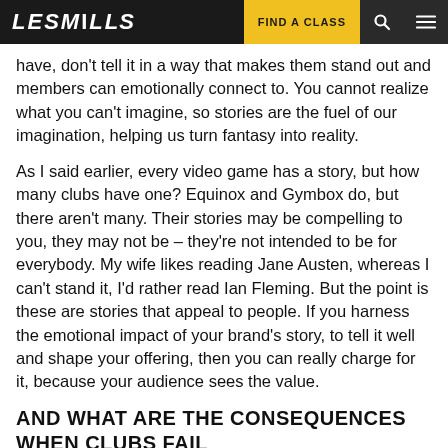LES MILLS | FIND A CLASS
have, don't tell it in a way that makes them stand out and members can emotionally connect to. You cannot realize what you can't imagine, so stories are the fuel of our imagination, helping us turn fantasy into reality.
As I said earlier, every video game has a story, but how many clubs have one? Equinox and Gymbox do, but there aren't many. Their stories may be compelling to you, they may not be – they're not intended to be for everybody. My wife likes reading Jane Austen, whereas I can't stand it, I'd rather read Ian Fleming. But the point is these are stories that appeal to people. If you harness the emotional impact of your brand's story, to tell it well and shape your offering, then you can really charge for it, because your audience sees the value.
AND WHAT ARE THE CONSEQUENCES WHEN CLUBS FAIL